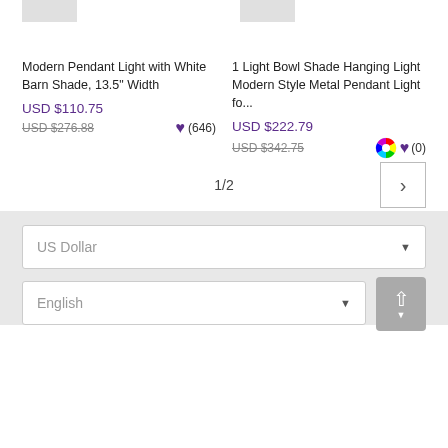[Figure (photo): Partial product images at top of page, two pendant lights cropped]
Modern Pendant Light with White Barn Shade, 13.5" Width
USD $110.75
USD $276.88
(646)
1 Light Bowl Shade Hanging Light Modern Style Metal Pendant Light fo...
USD $222.79
USD $342.75
(0)
1/2
US Dollar
English